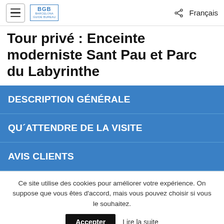BGB Barcelona Guide Bureau | Français
Tour privé : Enceinte moderniste Sant Pau et Parc du Labyrinthe
DESCRIPTION GÉNÉRALE
QU´ATTENDRE DE LA VISITE
AVIS CLIENTS
Ce site utilise des cookies pour améliorer votre expérience. On suppose que vous êtes d'accord, mais vous pouvez choisir si vous le souhaitez. Accepter Lire la suite